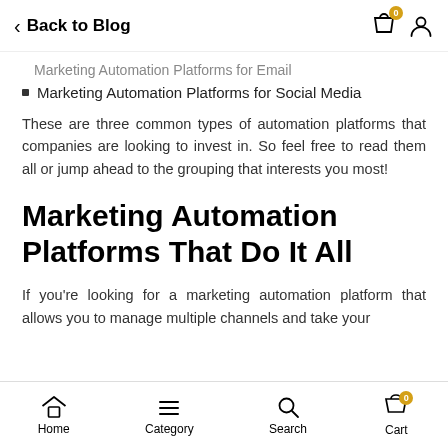Back to Blog
Marketing Automation Platforms for Email
Marketing Automation Platforms for Social Media
These are three common types of automation platforms that companies are looking to invest in. So feel free to read them all or jump ahead to the grouping that interests you most!
Marketing Automation Platforms That Do It All
If you're looking for a marketing automation platform that allows you to manage multiple channels and take your
Home   Category   Search   Cart